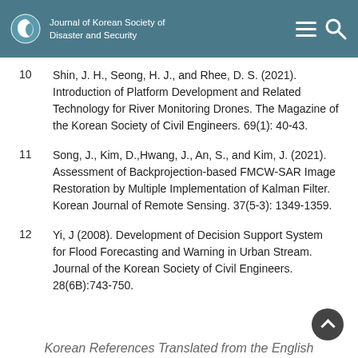Journal of Korean Society of Disaster and Security
10   Shin, J. H., Seong, H. J., and Rhee, D. S. (2021). Introduction of Platform Development and Related Technology for River Monitoring Drones. The Magazine of the Korean Society of Civil Engineers. 69(1): 40-43.
11   Song, J., Kim, D., Hwang, J., An, S., and Kim, J. (2021). Assessment of Backprojection-based FMCW-SAR Image Restoration by Multiple Implementation of Kalman Filter. Korean Journal of Remote Sensing. 37(5-3): 1349-1359.
12   Yi, J (2008). Development of Decision Support System for Flood Forecasting and Warning in Urban Stream. Journal of the Korean Society of Civil Engineers. 28(6B):743-750.
Korean References Translated from the English